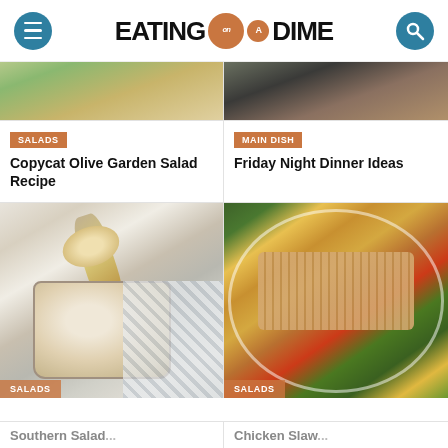EATING on a DIME
[Figure (photo): Partially visible salad image at top left card]
SALADS
Copycat Olive Garden Salad Recipe
[Figure (photo): Partially visible food image at top right card]
MAIN DISH
Friday Night Dinner Ideas
[Figure (photo): Creamy dressing in a glass jar with a spoon, salad in background]
SALADS
Southern Salad...
[Figure (photo): Chicken taco salad with sliced chicken, corn, black beans, tomatoes, and tortilla strips]
SALADS
Chicken Slaw...